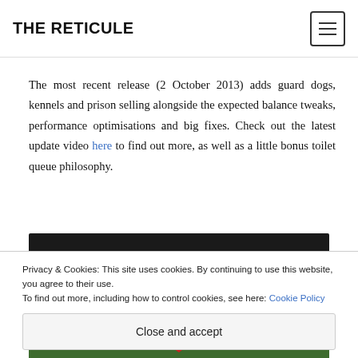THE RETICULE
The most recent release (2 October 2013) adds guard dogs, kennels and prison selling alongside the expected balance tweaks, performance optimisations and big fixes. Check out the latest update video here to find out more, as well as a little bonus toilet queue philosophy.
[Figure (screenshot): Video thumbnail for Prison Architect Alpha 14 (NS...) showing a dark background with a green circular logo on the left and the video title text in white]
Privacy & Cookies: This site uses cookies. By continuing to use this website, you agree to their use.
To find out more, including how to control cookies, see here: Cookie Policy
Close and accept
[Figure (screenshot): Bottom strip showing a game scene with green background and a red heart shape in the center]